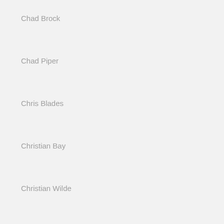Chad Brock
Chad Piper
Chris Blades
Christian Bay
Christian Wilde
Christopher Daniels
Cliff Jensen
Cody Allen
Cody Cummings
Colby Jansen
Cole Christiansen
Cole Streets
Colt Rivers